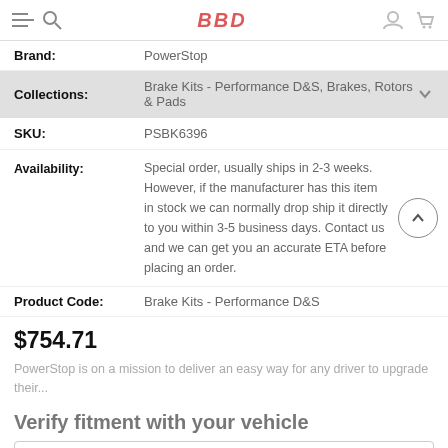BBD logo header with search and cart icons
Brand: PowerStop
Collections: Brake Kits - Performance D&S, Brakes, Rotors & Pads
SKU: PSBK6396
Availability: Special order, usually ships in 2-3 weeks. However, if the manufacturer has this item in stock we can normally drop ship it directly to you within 3-5 business days. Contact us and we can get you an accurate ETA before placing an order.
Product Code: Brake Kits - Performance D&S
$754.71
PowerStop is on a mission to deliver an easy way for any driver to upgrade their...
Verify fitment with your vehicle
Year